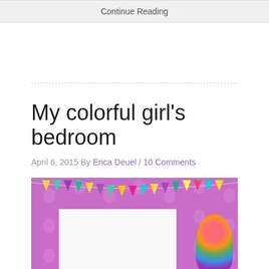Continue Reading
My colorful girl's bedroom
April 6, 2015 By Erica Deuel / 10 Comments
[Figure (photo): Colorful girl's bedroom with purple floral wallpaper, bunting flags in yellow, teal, purple, and chevron patterns, a white framed picture or mirror, and colorful flower/pom pom decorations on the right side.]